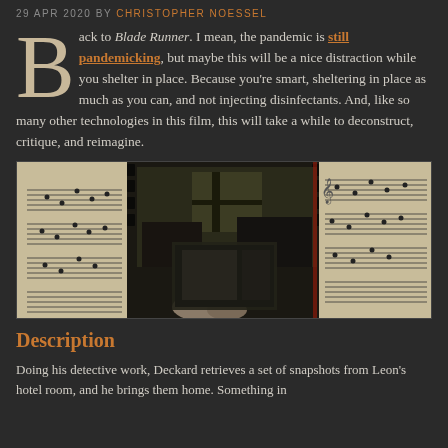29 APR 2020 BY CHRISTOPHER NOESSEL
Back to Blade Runner. I mean, the pandemic is still pandemicking, but maybe this will be a nice distraction while you shelter in place. Because you're smart, sheltering in place as much as you can, and not injecting disinfectants. And, like so many other technologies in this film, this will take a while to deconstruct, critique, and reimagine.
[Figure (photo): A photograph of a film negative strip being held up, showing a dark interior room scene. Sheet music is visible on both left and right sides of the image in the background.]
Description
Doing his detective work, Deckard retrieves a set of snapshots from Leon's hotel room, and he brings them home. Something in